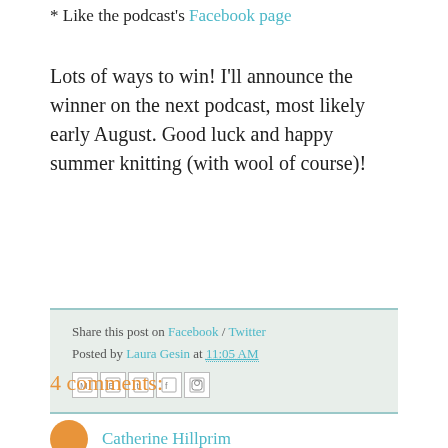* Like the podcast's Facebook page
Lots of ways to win! I'll announce the winner on the next podcast, most likely early August. Good luck and happy summer knitting (with wool of course)!
Share this post on Facebook / Twitter
Posted by Laura Gesin at 11:05 AM
4 comments:
Catherine Hillprim